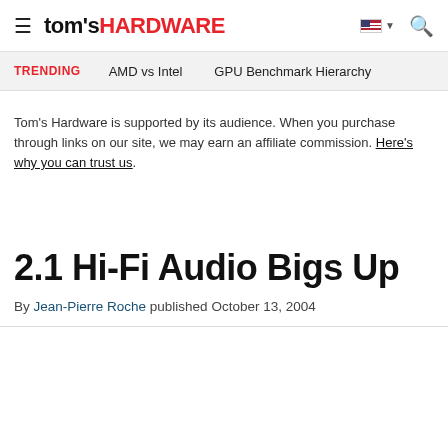tom's HARDWARE
TRENDING   AMD vs Intel   GPU Benchmark Hierarchy
Tom's Hardware is supported by its audience. When you purchase through links on our site, we may earn an affiliate commission. Here's why you can trust us.
2.1 Hi-Fi Audio Bigs Up
By Jean-Pierre Roche published October 13, 2004